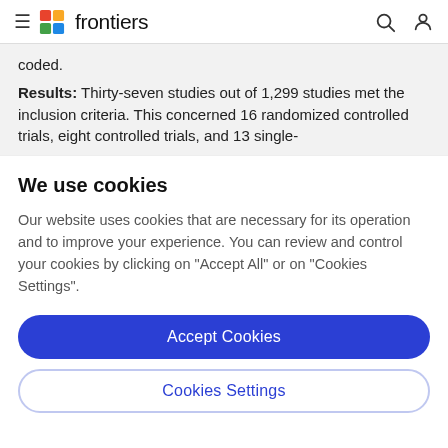frontiers
coded.
Results: Thirty-seven studies out of 1,299 studies met the inclusion criteria. This concerned 16 randomized controlled trials, eight controlled trials, and 13 single-
We use cookies
Our website uses cookies that are necessary for its operation and to improve your experience. You can review and control your cookies by clicking on "Accept All" or on "Cookies Settings".
Accept Cookies
Cookies Settings